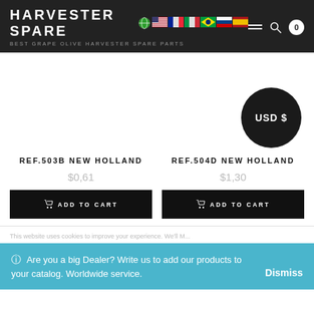HARVESTER SPARES - BEST GRAPE OLIVE HARVESTER SPARE PARTS
[Figure (screenshot): USD $ currency badge, dark circle]
REF.503B NEW HOLLAND
$0,61
ADD TO CART
REF.504D NEW HOLLAND
$1,30
ADD TO CART
Are you a big Dealer? Write us to add our products to your catalog. Worldwide service.
Dismiss